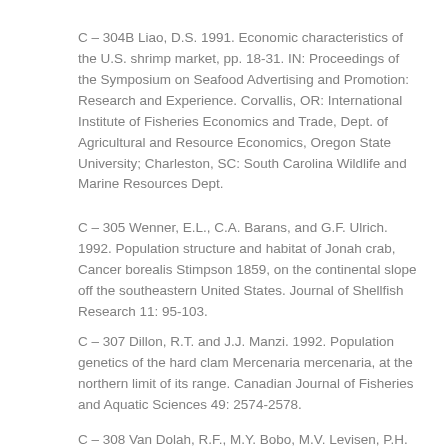C – 304B Liao, D.S. 1991. Economic characteristics of the U.S. shrimp market, pp. 18-31. IN: Proceedings of the Symposium on Seafood Advertising and Promotion: Research and Experience. Corvallis, OR: International Institute of Fisheries Economics and Trade, Dept. of Agricultural and Resource Economics, Oregon State University; Charleston, SC: South Carolina Wildlife and Marine Resources Dept.
C – 305 Wenner, E.L., C.A. Barans, and G.F. Ulrich. 1992. Population structure and habitat of Jonah crab, Cancer borealis Stimpson 1859, on the continental slope off the southeastern United States. Journal of Shellfish Research 11: 95-103.
C – 307 Dillon, R.T. and J.J. Manzi. 1992. Population genetics of the hard clam Mercenaria mercenaria, at the northern limit of its range. Canadian Journal of Fisheries and Aquatic Sciences 49: 2574-2578.
C – 308 Van Dolah, R.F., M.Y. Bobo, M.V. Levisen, P.H.